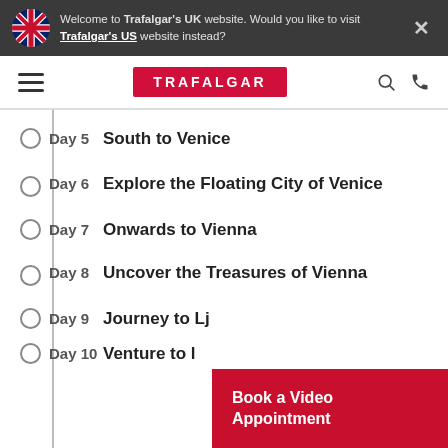Welcome to Trafalgar's UK website. Would you like to visit Trafalgar's US website instead?
[Figure (logo): Trafalgar logo red rectangle with white text]
Day 5  South to Venice
Day 6  Explore the Floating City of Venice
Day 7  Onwards to Vienna
Day 8  Uncover the Treasures of Vienna
Day 9  Journey to Lj...
Day 10 Venture to ...
Book a Video Appointment